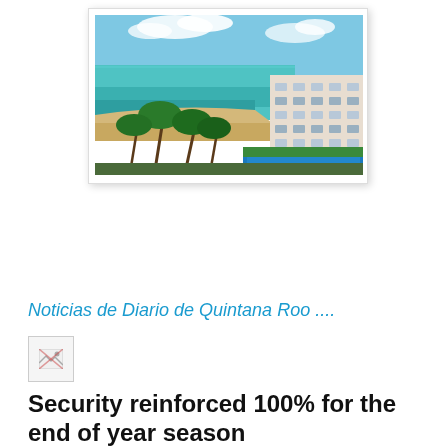[Figure (photo): Aerial/elevated view of a Caribbean beach resort. Turquoise sea on the left, sandy beach in the middle with palm trees, a multi-story hotel building on the right, and a blue swimming pool in the foreground. Blue sky with clouds above.]
Noticias de Diario de Quintana Roo ....
[Figure (photo): Broken/missing image placeholder icon]
Security reinforced 100% for the end of year season